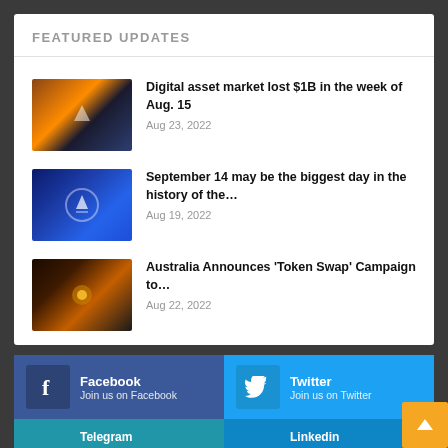FEATURED UPDATES
Digital asset market lost $1B in the week of Aug. 15 — Aug 23, 2022
September 14 may be the biggest day in the history of the… — Aug 19, 2022
Australia Announces 'Token Swap' Campaign to… — Aug 22, 2022
Facebook — Join us on Facebook
Twitter — Join us on Twitter
Telegram
LinkedIn